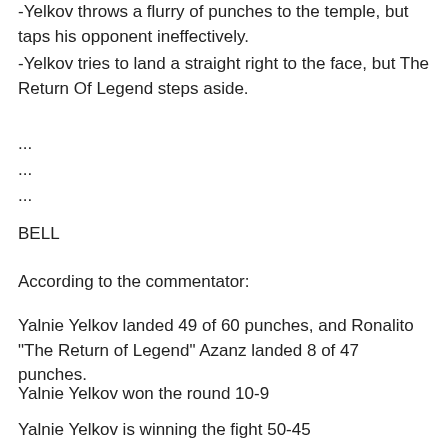-Yelkov throws a flurry of punches to the temple, but taps his opponent ineffectively.
-Yelkov tries to land a straight right to the face, but The Return Of Legend steps aside.
...
...
...
BELL
According to the commentator:
Yalnie Yelkov landed 49 of 60 punches, and Ronalito "The Return of Legend" Azanz landed 8 of 47 punches.
Yalnie Yelkov won the round 10-9
Yalnie Yelkov is winning the fight 50-45